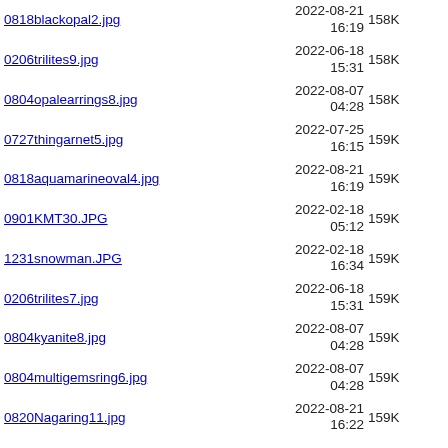0818blackopal2.jpg 2022-08-21 16:19 158K
0206trilites9.jpg 2022-06-18 15:31 158K
0804opalearrings8.jpg 2022-08-07 04:28 158K
0727thingarnet5.jpg 2022-07-25 16:15 159K
0818aquamarineoval4.jpg 2022-08-21 16:19 159K
0901KMT30.JPG 2022-02-18 05:12 159K
1231snowman.JPG 2022-02-18 16:34 159K
0206trilites7.jpg 2022-06-18 15:31 159K
0804kyanite8.jpg 2022-08-07 04:28 159K
0804multigemsring6.jpg 2022-08-07 04:28 159K
0820Nagaring11.jpg 2022-08-21 16:22 159K